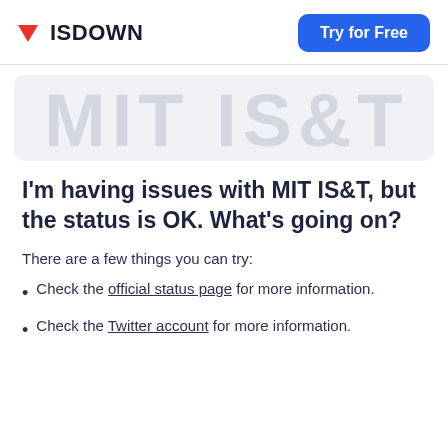ISDOWN | Try for Free
[Figure (illustration): Faded large text banner showing MIT IS&T logo/name in light gray on a light background]
I'm having issues with MIT IS&T, but the status is OK. What's going on?
There are a few things you can try:
Check the official status page for more information.
Check the Twitter account for more information.